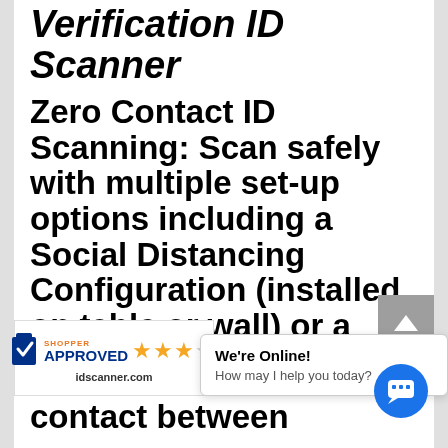Verification ID Scanner
Zero Contact ID Scanning: Scan safely with multiple set-up options including a Social Distancing Configuration (installed on table or wall) or a Contactless
contact between